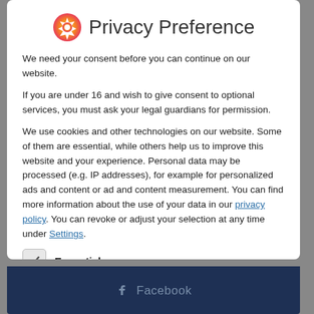Privacy Preference
We need your consent before you can continue on our website.
If you are under 16 and wish to give consent to optional services, you must ask your legal guardians for permission.
We use cookies and other technologies on our website. Some of them are essential, while others help us to improve this website and your experience. Personal data may be processed (e.g. IP addresses), for example for personalized ads and content or ad and content measurement. You can find more information about the use of your data in our privacy policy. You can revoke or adjust your selection at any time under Settings.
Essential
Essential cookies enable basic functions and are necessary for the proper function of the website.
Statistics
Facebook